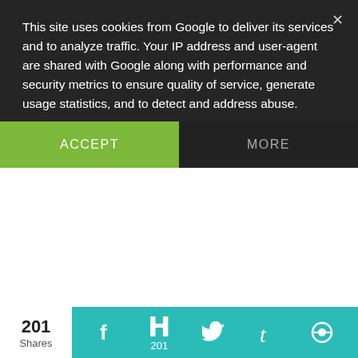This site uses cookies from Google to deliver its services and to analyze traffic. Your IP address and user-agent are shared with Google along with performance and security metrics to ensure quality of service, generate usage statistics, and to detect and address abuse.
ACCEPT
MORE
Reply
Angela Tolsma
October 18, 2016 at 11:02 AM
Lombard Street is definitely not something I had heard of before today and would totally be up my alley! Also the cable
201
Shares